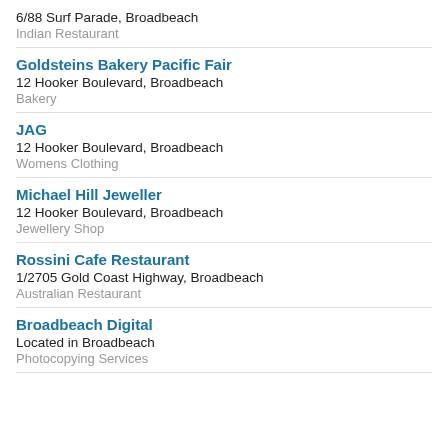6/88 Surf Parade, Broadbeach
Indian Restaurant
Goldsteins Bakery Pacific Fair
12 Hooker Boulevard, Broadbeach
Bakery
JAG
12 Hooker Boulevard, Broadbeach
Womens Clothing
Michael Hill Jeweller
12 Hooker Boulevard, Broadbeach
Jewellery Shop
Rossini Cafe Restaurant
1/2705 Gold Coast Highway, Broadbeach
Australian Restaurant
Broadbeach Digital
Located in Broadbeach
Photocopying Services